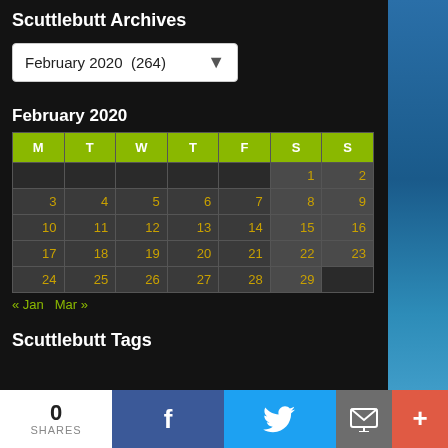Scuttlebutt Archives
February 2020  (264)
February 2020
| M | T | W | T | F | S | S |
| --- | --- | --- | --- | --- | --- | --- |
|  |  |  |  |  | 1 | 2 |
| 3 | 4 | 5 | 6 | 7 | 8 | 9 |
| 10 | 11 | 12 | 13 | 14 | 15 | 16 |
| 17 | 18 | 19 | 20 | 21 | 22 | 23 |
| 24 | 25 | 26 | 27 | 28 | 29 |  |
« Jan   Mar »
Scuttlebutt Tags
0 SHARES